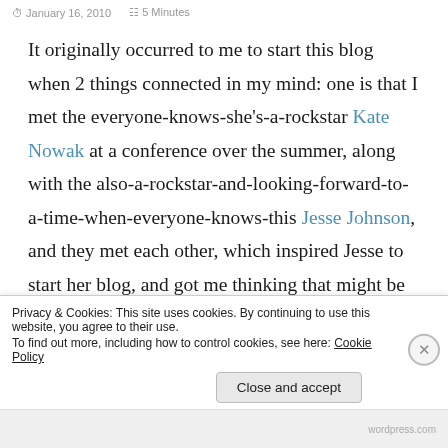January 16, 2010  5 Minutes
It originally occurred to me to start this blog when 2 things connected in my mind: one is that I met the everyone-knows-she's-a-rockstar Kate Nowak at a conference over the summer, along with the also-a-rockstar-and-looking-forward-to-a-time-when-everyone-knows-this Jesse Johnson, and they met each other, which inspired Jesse to start her blog, and got me thinking that might be cool. The other is that I was
Privacy & Cookies: This site uses cookies. By continuing to use this website, you agree to their use.
To find out more, including how to control cookies, see here: Cookie Policy
Close and accept